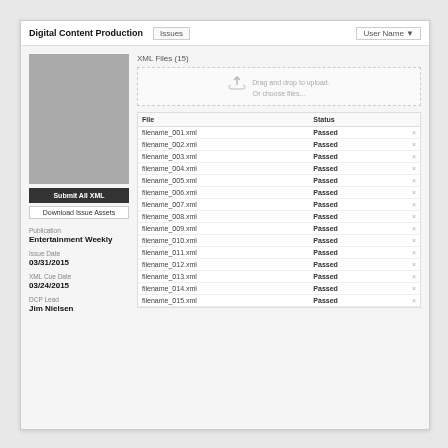Digital Content Production | Issues | User Name ▼
[Figure (photo): Gray placeholder cover image]
Submit All XML
Download Issue Assets
Publication
Entertainment Weekly
Issue Date
03/31/2015
XML Cue Date
03/24/2015
DCP Lead
Jim Nielsen
XML Files (15)
[Figure (screenshot): Drag and drop upload zone with cloud icon]
| File | Status |  |
| --- | --- | --- |
| filename_001.xml | Passed | × |
| filename_002.xml | Passed | × |
| filename_003.xml | Passed | × |
| filename_004.xml | Passed | × |
| filename_005.xml | Passed | × |
| filename_006.xml | Passed | × |
| filename_007.xml | Passed | × |
| filename_008.xml | Passed | × |
| filename_009.xml | Passed | × |
| filename_010.xml | Passed | × |
| filename_011.xml | Passed | × |
| filename_012.xml | Passed | × |
| filename_013.xml | Passed | × |
| filename_014.xml | Passed | × |
| filename_015.xml | Passed | × |